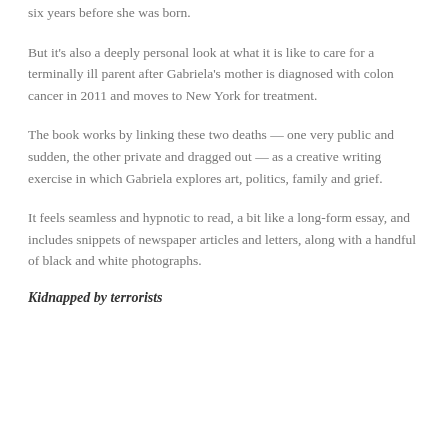six years before she was born.
But it's also a deeply personal look at what it is like to care for a terminally ill parent after Gabriela's mother is diagnosed with colon cancer in 2011 and moves to New York for treatment.
The book works by linking these two deaths — one very public and sudden, the other private and dragged out — as a creative writing exercise in which Gabriela explores art, politics, family and grief.
It feels seamless and hypnotic to read, a bit like a long-form essay, and includes snippets of newspaper articles and letters, along with a handful of black and white photographs.
Kidnapped by terrorists